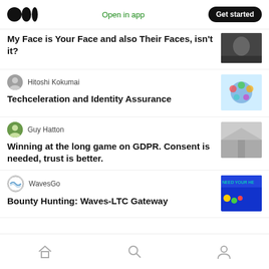Medium logo | Open in app | Get started
My Face is Your Face and also Their Faces, isn't it?
Hitoshi Kokumai
Techceleration and Identity Assurance
Guy Hatton
Winning at the long game on GDPR. Consent is needed, trust is better.
WavesGo
Bounty Hunting: Waves-LTC Gateway
Home | Search | Profile